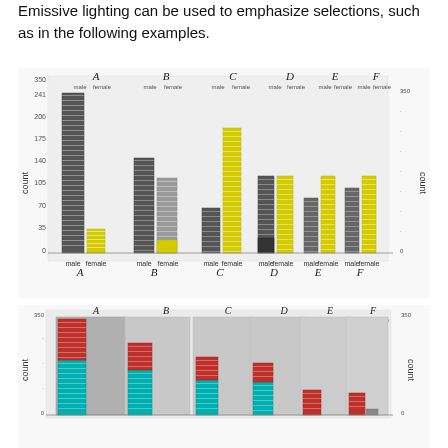Emissive lighting can be used to emphasize selections, such as in the following examples.
[Figure (other): 3D grouped bar chart showing count data across categories A-F with male/female subcategories. Some bars highlighted in yellow (emissive lighting) to emphasize selections. Y-axis labeled 'count' with values from 0 to ~350.]
[Figure (other): Second 3D grouped bar chart showing count data across categories A-F with male/female subcategories. Some bars highlighted in red and teal (emissive lighting) to emphasize selections. Y-axis labeled 'count'.]